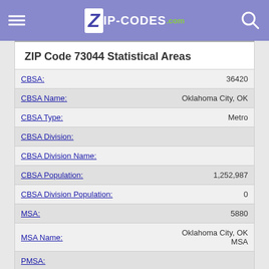zip-codes.com
ZIP Code 73044 Statistical Areas
| Field | Value |
| --- | --- |
| CBSA: | 36420 |
| CBSA Name: | Oklahoma City, OK |
| CBSA Type: | Metro |
| CBSA Division: |  |
| CBSA Division Name: |  |
| CBSA Population: | 1,252,987 |
| CBSA Division Population: | 0 |
| MSA: | 5880 |
| MSA Name: | Oklahoma City, OK MSA |
| PMSA: |  |